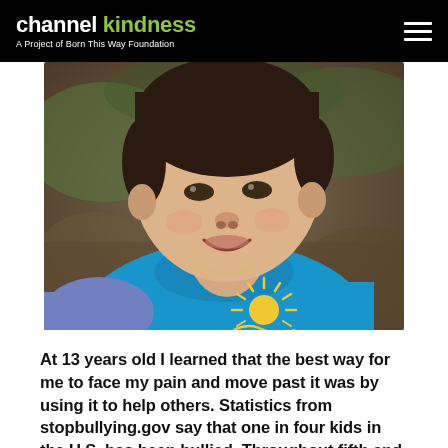channel kindness — A Project of Born This Way Foundation
[Figure (photo): A smiling young person with short dark hair wearing a bright blue t-shirt with a yellow sun/wave graphic, sitting outdoors with blurred natural background.]
At 13 years old I learned that the best way for me to face my pain and move past it was by using it to help others. Statistics from stopbullying.gov say that one in four kids in the U.S. has been bullied. Throughout fifth and sixth grade, I was the one. In fifth grade, I was constantly teased, kicked, and told by my classmates